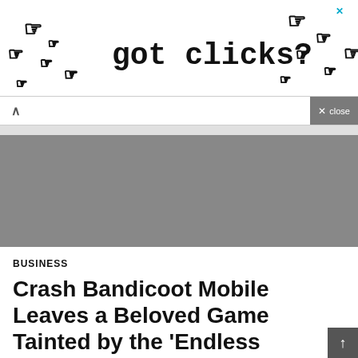[Figure (screenshot): Advertisement banner with text 'got clicks?' and decorative cursor/hand icons scattered around, with an X close button in the top right corner]
[Figure (screenshot): Collapse/accordion bar with an upward caret chevron button on the left, and an X close button on the right side]
[Figure (screenshot): Gray advertisement placeholder area]
BUSINESS
Crash Bandicoot Mobile Leaves a Beloved Game Tainted by the 'Endless Runner', Crypto Coins News